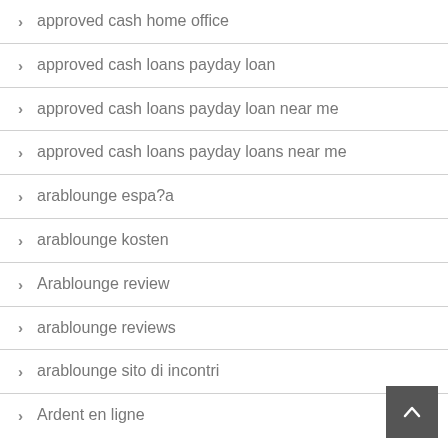approved cash home office
approved cash loans payday loan
approved cash loans payday loan near me
approved cash loans payday loans near me
arablounge espa?a
arablounge kosten
Arablounge review
arablounge reviews
arablounge sito di incontri
Ardent en ligne